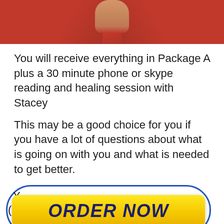[Figure (photo): Partial photo of a person wearing a red shirt, cropped to show torso and lower neck area only.]
You will receive everything in Package A plus a 30 minute phone or skype reading and healing session with Stacey
This may be a good choice for you if you have a lot of questions about what is going on with you and what is needed to get better.
[Figure (other): An ORDER NOW button — yellow rounded rectangle with dark blue bold italic text 'ORDER NOW', overlaid on a blue oval border outline.]
you shift as you open up to understanding what is behind your challenges that you did